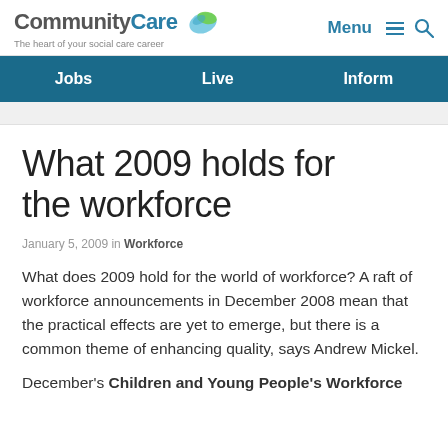CommunityCare — The heart of your social care career | Menu
Jobs | Live | Inform
What 2009 holds for the workforce
January 5, 2009 in Workforce
What does 2009 hold for the world of workforce? A raft of workforce announcements in December 2008 mean that the practical effects are yet to emerge, but there is a common theme of enhancing quality, says Andrew Mickel.
December's Children and Young People's Workforce